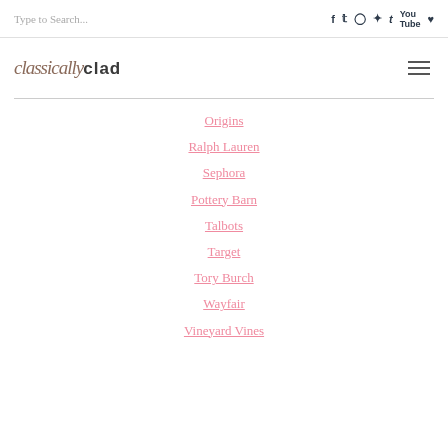Type to Search...
[Figure (logo): classically clad blog logo with script and bold text]
Origins
Ralph Lauren
Sephora
Pottery Barn
Talbots
Target
Tory Burch
Wayfair
Vineyard Vines